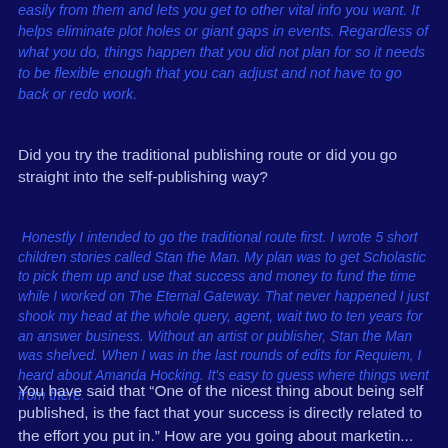easily from them and lets you get to other vital info you want. It helps eliminate plot holes or giant gaps in events. Regardless of what you do, things happen that you did not plan for so it needs to be flexible enough that you can adjust and not have to go back or redo work.
Did you try the traditional publishing route or did you go straight into the self-publishing way?
Honestly I intended to go the traditional route first. I wrote 5 short children stories called Stan the Man. My plan was to get Scholastic to pick them up and use that success and money to fund the time while I worked on The Eternal Gateway. That never happened I just shook my head at the whole query, agent, wait two to ten years for an answer business. Without an artist or publisher, Stan the Man was shelved. When I was in the last rounds of edits for Requiem, I heard about Amanda Hocking. It's easy to guess where things went from there.
You have said that “One of the nicest thing about being self published, is the fact that your success is directly related to the effort you put in.” How are you going about marketing...